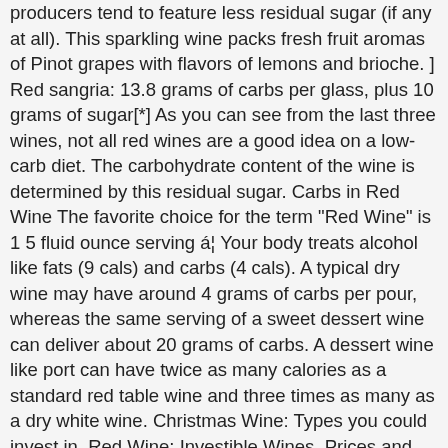producers tend to feature less residual sugar (if any at all). This sparkling wine packs fresh fruit aromas of Pinot grapes with flavors of lemons and brioche. ] Red sangria: 13.8 grams of carbs per glass, plus 10 grams of sugar[*] As you can see from the last three wines, not all red wines are a good idea on a low-carb diet. The carbohydrate content of the wine is determined by this residual sugar. Carbs in Red Wine The favorite choice for the term "Red Wine" is 1 5 fluid ounce serving á¦ Your body treats alcohol like fats (9 cals) and carbs (4 cals). A typical dry wine may have around 4 grams of carbs per pour, whereas the same serving of a sweet dessert wine can deliver about 20 grams of carbs. A dessert wine like port can have twice as many calories as a standard red table wine and three times as many as a dry white wine. Christmas Wine: Types you could invest in, Red Wine: Investible Wines, Prices and more, White Wine: Investible Wines, Prices and more, Moscato Wine: A few investment opportunities, Wine Glass (Styles, Best Wine Glasses for Each Wine Type), 2002 Louis Roederer Cristal 'Gold